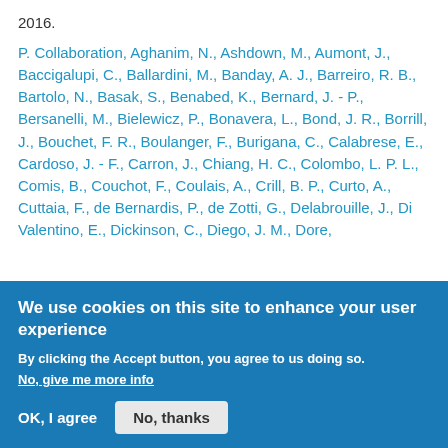2016.
P. Collaboration, Aghanim, N., Ashdown, M., Aumont, J., Baccigalupi, C., Ballardini, M., Banday, A. J., Barreiro, R. B., Bartolo, N., Basak, S., Benabed, K., Bernard, J. - P., Bersanelli, M., Bielewicz, P., Bonavera, L., Bond, J. R., Borrill, J., Bouchet, F. R., Boulanger, F., Burigana, C., Calabrese, E., Cardoso, J. - F., Carron, J., Chiang, H. C., Colombo, L. P. L., Comis, B., Couchot, F., Coulais, A., Crill, B. P., Curto, A., Cuttaia, F., de Bernardis, P., de Zotti, G., Delabrouille, J., Di Valentino, E., Dickinson, C., Diego, J. M., Dore,
We use cookies on this site to enhance your user experience
By clicking the Accept button, you agree to us doing so.
No, give me more info
OK, I agree
No, thanks